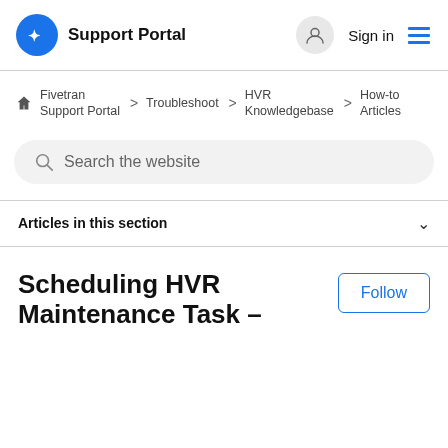Support Portal  Sign in
Fivetran Support Portal  >  Troubleshoot  >  HVR Knowledgebase  >  How-to Articles
Search the website
Articles in this section
Scheduling HVR Maintenance Task –